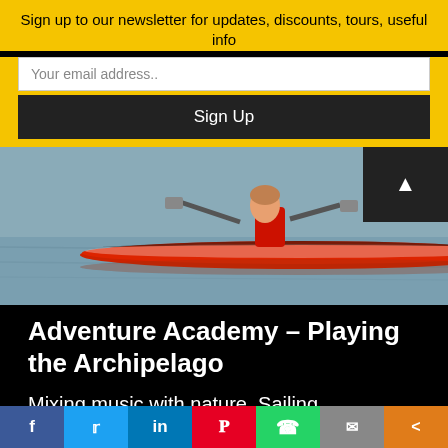Sign up to our newsletter for updates, discounts, tours, useful info
Your email address..
Sign Up
[Figure (photo): Person kayaking in a red kayak on calm water, viewed from the side]
Adventure Academy – Playing the Archipelago
Mixing music with nature. Sailing, windsurfing and playing music in the Stockholm Archipelago : this is what Sophia is proposing in her inspiring and full of happiness
[Figure (infographic): Social sharing bar with icons: Facebook, Twitter, LinkedIn, Pinterest, WhatsApp, Email, Share]